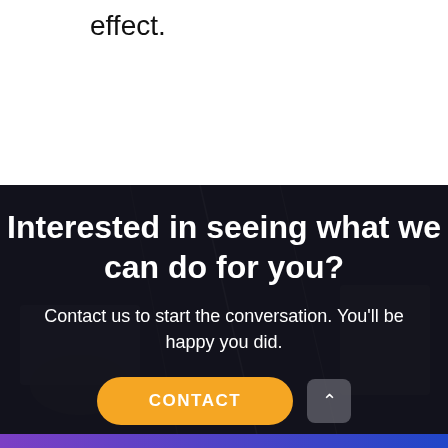effect.
Interested in seeing what we can do for you?
Contact us to start the conversation. You'll be happy you did.
CONTACT